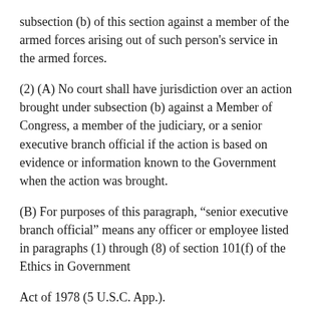subsection (b) of this section against a member of the armed forces arising out of such person's service in the armed forces.
(2) (A) No court shall have jurisdiction over an action brought under subsection (b) against a Member of Congress, a member of the judiciary, or a senior executive branch official if the action is based on evidence or information known to the Government when the action was brought.
(B) For purposes of this paragraph, “senior executive branch official” means any officer or employee listed in paragraphs (1) through (8) of section 101(f) of the Ethics in Government
Act of 1978 (5 U.S.C. App.).
(3) In no event may a person bring an action under subsection (b) which is based upon allegations or transactions which are the subject of a civil suit or an administrative civil money penalty proceeding in which the Government is already a